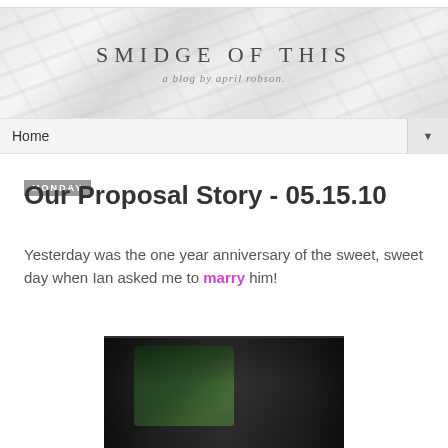SMIDGE OF THIS — a blog by april robson
Home ▼
Monday
Our Proposal Story - 05.15.10
Yesterday was the one year anniversary of the sweet, sweet day when Ian asked me to marry him!
[Figure (photo): A dark photograph showing what appears to be a person viewed through a window or archway with green foliage visible]